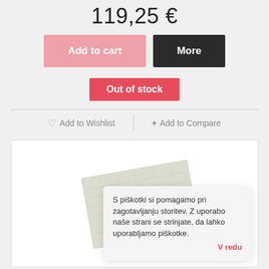119,25 €
Add to cart
More
Out of stock
♡ Add to Wishlist
+ Add to Compare
[Figure (photo): A light gray textured fabric/paper sheet shown at a slight angle on a white background]
S piškotki si pomagamo pri zagotavljanju storitev. Z uporabo naše strani se strinjate, da lahko uporabljamo piškotke. V redu